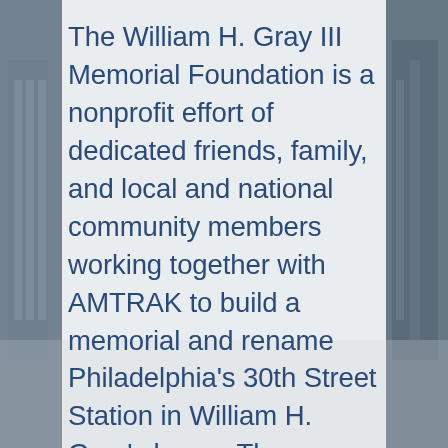[Figure (photo): Background photo of a train station or urban street scene, muted blue-gray tones, partially obscured by a semi-transparent white overlay panel in the center.]
The William H. Gray III Memorial Foundation is a nonprofit effort of dedicated friends, family, and local and national community members working together with AMTRAK to build a memorial and rename Philadelphia's 30th Street Station in William H. Gray's honor. The partnership with AMTRAK will ensure that the memorial features prominently in the planned redevelopment of the train station, slated to begin in 2021